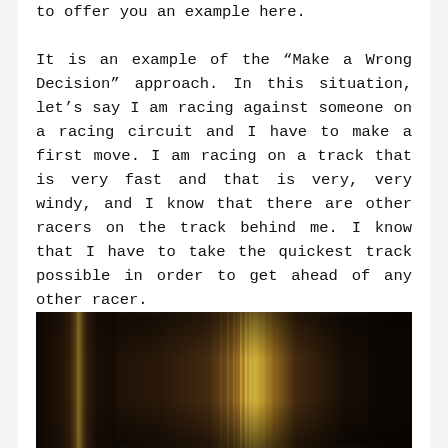to offer you an example here.
It is an example of the “Make a Wrong Decision” approach. In this situation, let’s say I am racing against someone on a racing circuit and I have to make a first move. I am racing on a track that is very fast and that is very, very windy, and I know that there are other racers on the track behind me. I know that I have to take the quickest track possible in order to get ahead of any other racer.
[Figure (photo): A dark, motion-blurred photograph of what appears to be a racing track or car interior, with warm golden/amber light streaks in the center against a very dark background.]